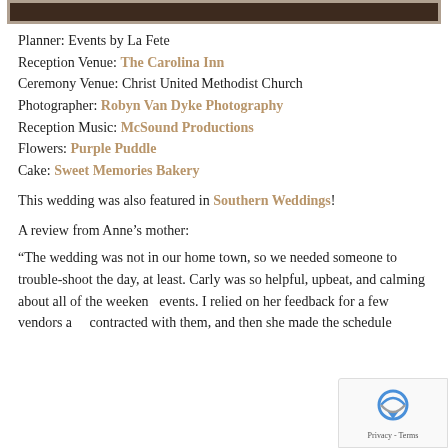[Figure (photo): Dark brown image strip at top of page]
Planner: Events by La Fete
Reception Venue: The Carolina Inn
Ceremony Venue: Christ United Methodist Church
Photographer: Robyn Van Dyke Photography
Reception Music: McSound Productions
Flowers: Purple Puddle
Cake: Sweet Memories Bakery
This wedding was also featured in Southern Weddings!
A review from Anne's mother:
“The wedding was not in our home town, so we needed someone to trouble-shoot the day, at least. Carly was so helpful, upbeat, and calming about all of the weekend events. I relied on her feedback for a few vendors and contracted with them, and then she made the schedule